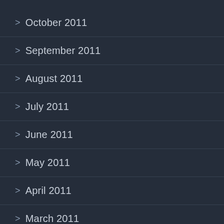> October 2011
> September 2011
> August 2011
> July 2011
> June 2011
> May 2011
> April 2011
> March 2011
> February 2011